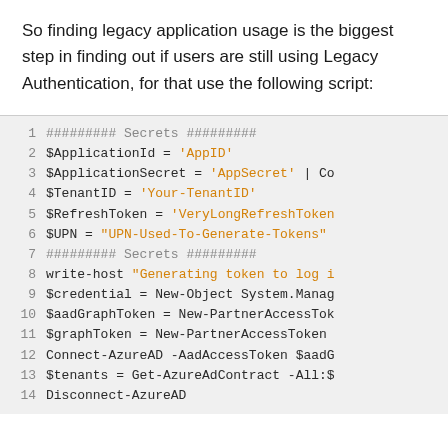So finding legacy application usage is the biggest step in finding out if users are still using Legacy Authentication, for that use the following script:
[Figure (screenshot): Code block showing PowerShell script lines 1-14 for generating tokens and connecting to AzureAD. Lines include variable assignments for ApplicationId, ApplicationSecret, TenantID, RefreshToken, UPN, and commands for Connect-AzureAD, Get-AzureAdContract, Disconnect-AzureAD.]